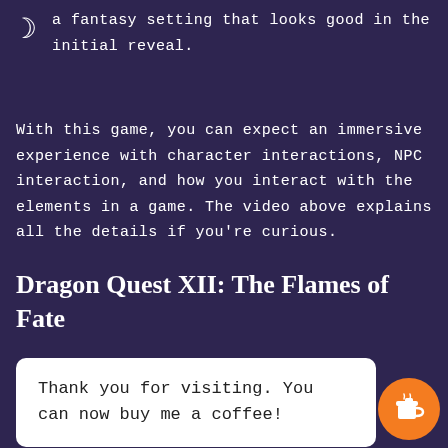a fantasy setting that looks good in the initial reveal.
With this game, you can expect an immersive experience with character interactions, NPC interaction, and how you interact with the elements in a game. The video above explains all the details if you're curious.
Dragon Quest XII: The Flames of Fate
Thank you for visiting. You can now buy me a coffee!
wasn't particularly a benchmark in terms of